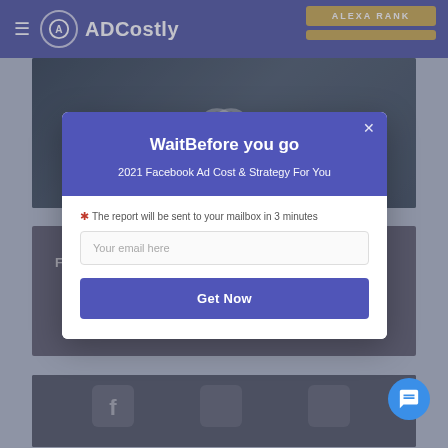ADCostly | ALEXA RANK
[Figure (screenshot): Background website screenshot showing dark teal content area with chain link icon at top]
[Figure (screenshot): Background website screenshot showing dark content area with Facebook ads text]
Wait⁠Before you go️
2021 Facebook Ad Cost & Strategy For You
* The report will be sent to your mailbox in 3 minutes
Your email here
Get Now
[Figure (screenshot): Background website screenshot showing social media icons at bottom]